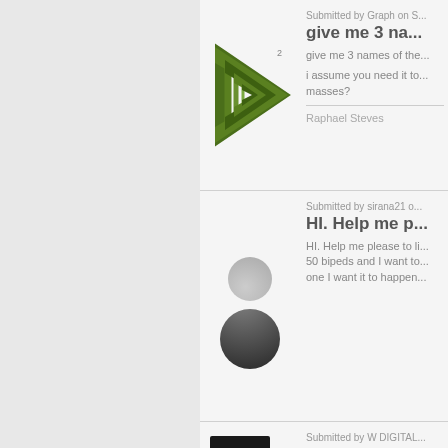Submitted by Graph on S...
give me 3 na...
give me 3 names of the...
i assume you need it to... masses?
Raphael Steves
[Figure (logo): Green triangular/arrow logo with nested triangles and a superscript 2]
Submitted by sirana21 o...
HI. Help me p...
HI. Help me please to li... 50 bipeds and I want to... one I want it to happen...
[Figure (illustration): Gray person silhouette icon]
Submitted by W DIGITAL...
yahoo...
[Figure (logo): Dark logo with circular arc design, partially visible at bottom]